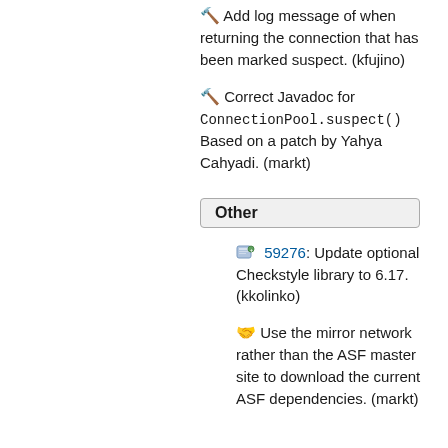🔨 Add log message of when returning the connection that has been marked suspect. (kfujino)
🔨 Correct Javadoc for ConnectionPool.suspect() Based on a patch by Yahya Cahyadi. (markt)
Other
🖥️ 59276: Update optional Checkstyle library to 6.17. (kkolinko)
🤝 Use the mirror network rather than the ASF master site to download the current ASF dependencies. (markt)